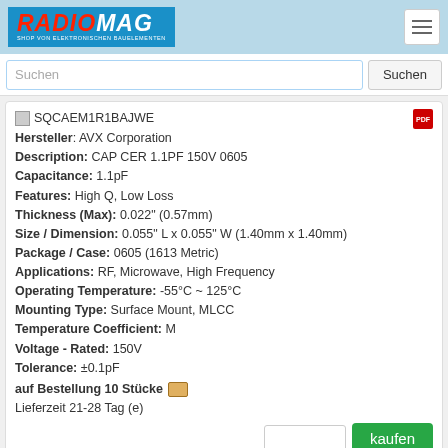RADIOMAG - SHOP VON ELEKTRONISCHEN BAUELEMENTEN
Suchen
SQCAEM1R1BAJWE
Hersteller: AVX Corporation
Description: CAP CER 1.1PF 150V 0605
Capacitance: 1.1pF
Features: High Q, Low Loss
Thickness (Max): 0.022" (0.57mm)
Size / Dimension: 0.055" L x 0.055" W (1.40mm x 1.40mm)
Package / Case: 0605 (1613 Metric)
Applications: RF, Microwave, High Frequency
Operating Temperature: -55°C ~ 125°C
Mounting Type: Surface Mount, MLCC
Temperature Coefficient: M
Voltage - Rated: 150V
Tolerance: ±0.1pF
auf Bestellung 10 Stücke
Lieferzeit 21-28 Tag (e)
kaufen
SQCAEM1R2BAJWE